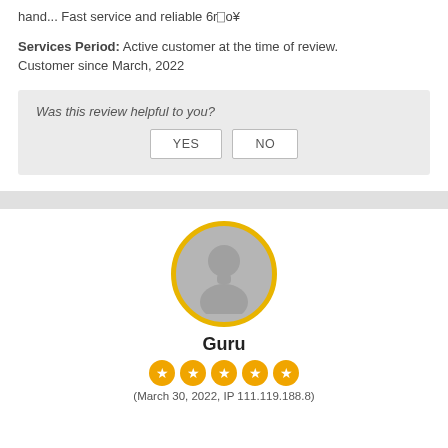hand... Fast service and reliable 6r⎕o¥
Services Period: Active customer at the time of review. Customer since March, 2022
Was this review helpful to you?
[Figure (illustration): Gray circle avatar with a silhouette of a person, surrounded by a yellow/gold ring border]
Guru
[Figure (other): Five orange star rating circles]
(March 30, 2022, IP 111.119.188.8)